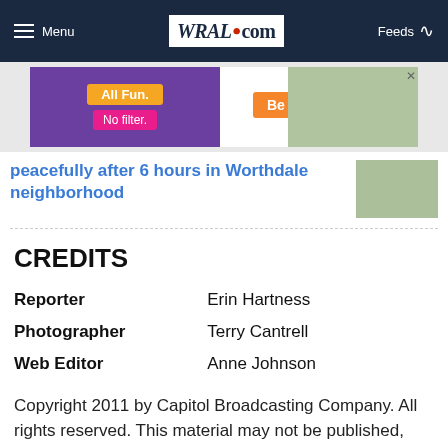Menu | WRAL.com | Feeds
[Figure (other): Advertisement banner: Girl Scouts ad with 'All Fun. No filter.' text and 'Be a Girl Scout.' on orange button, with group photo of girls]
peacefully after 6 hours in Worthdale neighborhood
CREDITS
| Reporter | Erin Hartness |
| Photographer | Terry Cantrell |
| Web Editor | Anne Johnson |
Copyright 2011 by Capitol Broadcasting Company. All rights reserved. This material may not be published, broadcast, rewritten or redistributed